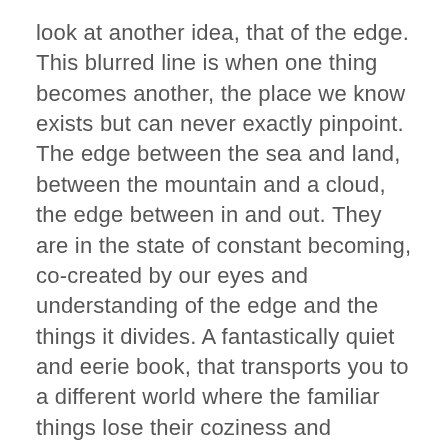look at another idea, that of the edge. This blurred line is when one thing becomes another, the place we know exists but can never exactly pinpoint. The edge between the sea and land, between the mountain and a cloud, the edge between in and out. They are in the state of constant becoming, co-created by our eyes and understanding of the edge and the things it divides. A fantastically quiet and eerie book, that transports you to a different world where the familiar things lose their coziness and become strange. Where is the edge?
As I mentioned this was a subjective selection from the bookshelves I had available. I followed my gut and my mother's suggestions, so it is a personal list. Now, I'd like to propose a little game, please go to your bookshelves and pick your favorite books about art, photography, film, or music and share them with us in